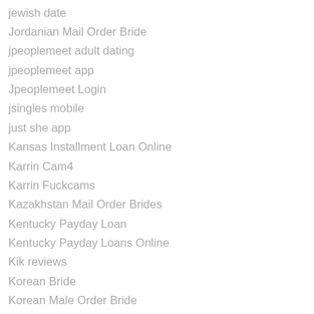jewish date
Jordanian Mail Order Bride
jpeoplemeet adult dating
jpeoplemeet app
Jpeoplemeet Login
jsingles mobile
just she app
Kansas Installment Loan Online
Karrin Cam4
Karrin Fuckcams
Kazakhstan Mail Order Brides
Kentucky Payday Loan
Kentucky Payday Loans Online
Kik reviews
Korean Bride
Korean Male Order Bride
Korean Order Bride
Korean Order Brides